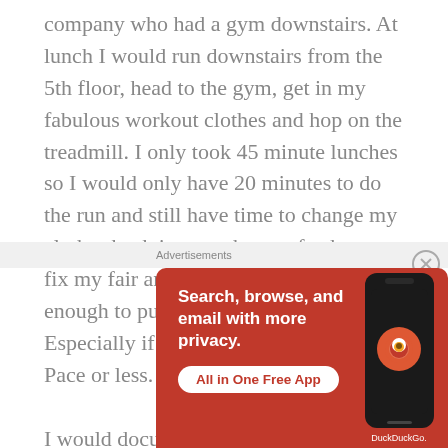company who had a gym downstairs. At lunch I would run downstairs from the 5th floor, head to the gym, get in my fabulous workout clothes and hop on the treadmill. I only took 45 minute lunches so I would only have 20 minutes to do the run and still have time to change my clothes back into work gear, freshen up, fix my fair and eat lunch. It's easy enough to put in 2 miles in 20 minutes. Especially if I maintain a 10 minute mile Pace or less.

I would document with photos and screenshots every day to PROVE that I did it. Most days I
[Figure (screenshot): DuckDuckGo advertisement banner on orange/red background. Text reads: 'Search, browse, and email with more privacy. All in One Free App' with a phone image showing the DuckDuckGo logo. Labeled 'Advertisements' with a close (X) button.]